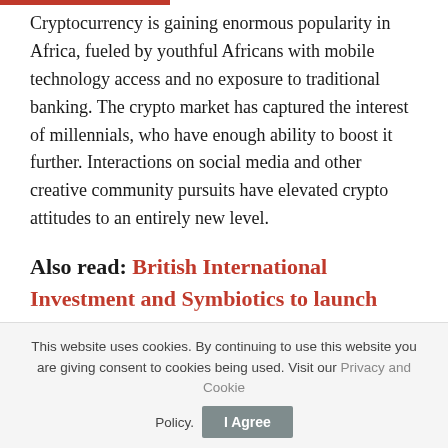Cryptocurrency is gaining enormous popularity in Africa, fueled by youthful Africans with mobile technology access and no exposure to traditional banking. The crypto market has captured the interest of millennials, who have enough ability to boost it further. Interactions on social media and other creative community pursuits have elevated crypto attitudes to an entirely new level.
Also read: British International Investment and Symbiotics to launch Green Basket Bond across Africa
Africa's economies are experiencing a transformation. While cryptocurrency is generally considered financial
This website uses cookies. By continuing to use this website you are giving consent to cookies being used. Visit our Privacy and Cookie Policy.